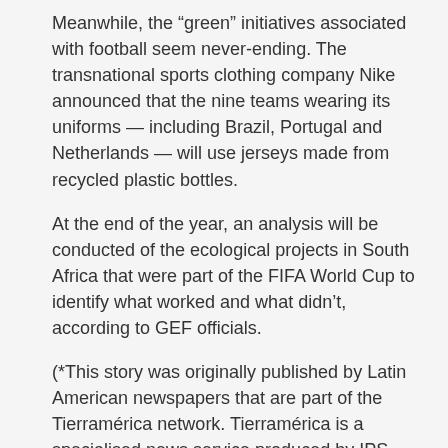Meanwhile, the “green” initiatives associated with football seem never-ending. The transnational sports clothing company Nike announced that the nine teams wearing its uniforms — including Brazil, Portugal and Netherlands — will use jerseys made from recycled plastic bottles.
At the end of the year, an analysis will be conducted of the ecological projects in South Africa that were part of the FIFA World Cup to identify what worked and what didn’t, according to GEF officials.
(*This story was originally published by Latin American newspapers that are part of the Tierramérica network. Tierramérica is a specialised news service produced by IPS with the backing of the United Nations Development Programme, United Nations Environment Programme and the World Bank.)